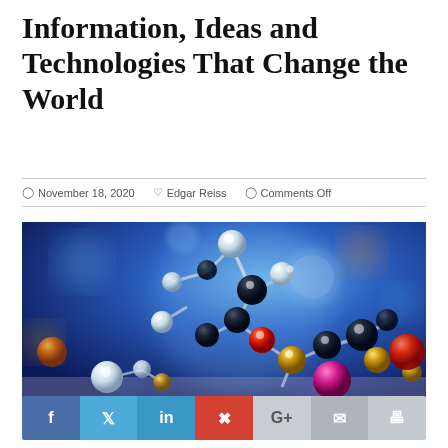Information, Ideas and Technologies That Change the World
November 18, 2020   Edgar Reiss   Comments Off
[Figure (photo): Close-up photograph of colorful molecular model ball-and-stick structures with blue bokeh background. White, dark blue, gold, red, and pink spheres connected by rods representing molecular bonds.]